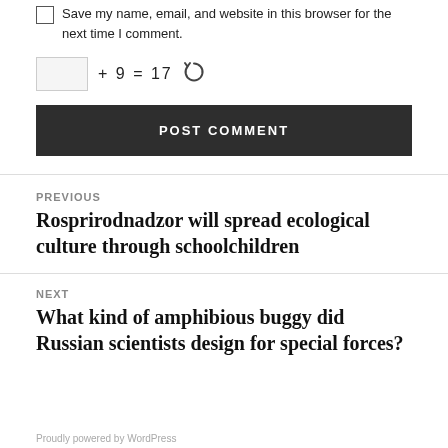Save my name, email, and website in this browser for the next time I comment.
+ 9 = 17
POST COMMENT
PREVIOUS
Rosprirodnadzor will spread ecological culture through schoolchildren
NEXT
What kind of amphibious buggy did Russian scientists design for special forces?
Proudly powered by WordPress